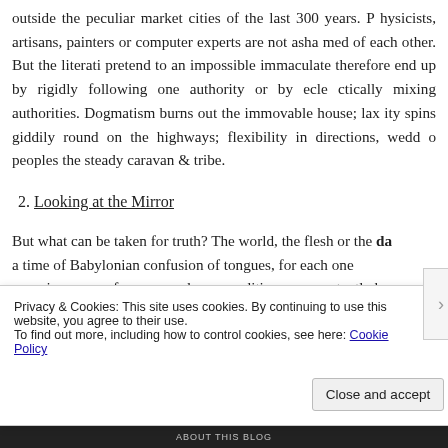outside the peculiar market cities of the last 300 years. Physicists, artisans, painters or computer experts are not ashamed of each other. But the literati pretend to an impossible immaculate and therefore end up by rigidly following one authority or by eclectically mixing authorities. Dogmatism burns out the immovable house; laxity spins giddily round on the highways; flexibility in directions, wedded to roots, peoples the steady caravan & tribe.
2. Looking at the Mirror
But what can be taken for truth? The world, the flesh or the da... a time of Babylonian confusion of tongues, for each one consciousness, of any use only on condition one constantly be... tio...
Privacy & Cookies: This site uses cookies. By continuing to use this website, you agree to their use.
To find out more, including how to control cookies, see here: Cookie Policy
Close and accept